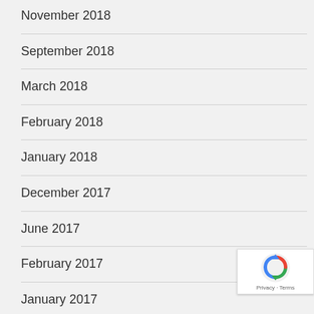November 2018
September 2018
March 2018
February 2018
January 2018
December 2017
June 2017
February 2017
January 2017
[Figure (logo): reCAPTCHA badge with Privacy and Terms text]